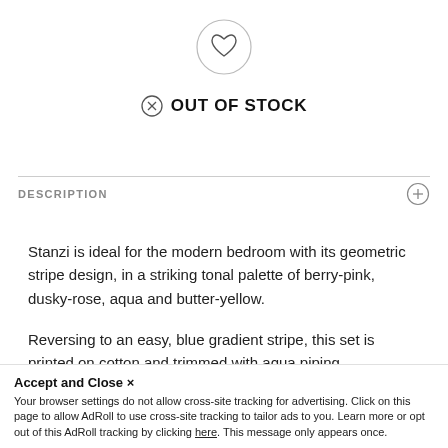[Figure (illustration): Heart icon inside a circle (wishlist/favorite button)]
OUT OF STOCK
DESCRIPTION
Stanzi is ideal for the modern bedroom with its geometric stripe design, in a striking tonal palette of berry-pink, dusky-rose, aqua and butter-yellow.

Reversing to an easy, blue gradient stripe, this set is printed on cotton and trimmed with aqua piping.
Finish this aesthetic by pairing it with its coordinating
Size Guide:
Accept and Close ×
Your browser settings do not allow cross-site tracking for advertising. Click on this page to allow AdRoll to use cross-site tracking to tailor ads to you. Learn more or opt out of this AdRoll tracking by clicking here. This message only appears once.